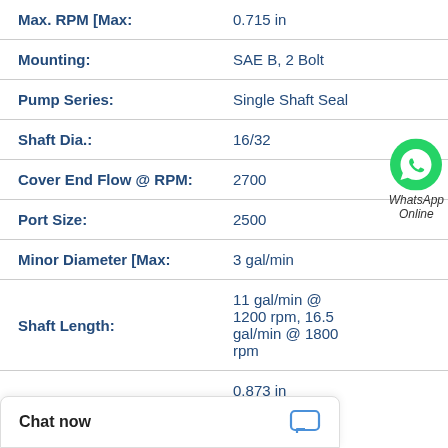| Specification | Value |
| --- | --- |
| Max. RPM [Max: | 0.715 in |
| Mounting: | SAE B, 2 Bolt |
| Pump Series: | Single Shaft Seal |
| Shaft Dia.: | 16/32 |
| Cover End Flow @ RPM: | 2700 |
| Port Size: | 2500 |
| Minor Diameter [Max: | 3 gal/min |
| Shaft Length: | 11 gal/min @ 1200 rpm, 16.5 gal/min @ 1800 rpm |
|  | 0.873 in |
Chat now
[Figure (logo): WhatsApp green phone icon with text 'WhatsApp Online']